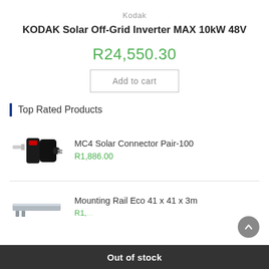Kodak
KODAK Solar Off-Grid Inverter MAX 10kW 48V
R24,550.30
Add to cart
Top Rated Products
[Figure (photo): MC4 Solar Connector pair product image - black connectors]
MC4 Solar Connector Pair-100
R1,886.00
[Figure (photo): Mounting Rail Eco product image - silver rail]
Mounting Rail Eco 41 x 41 x 3m
Out of stock